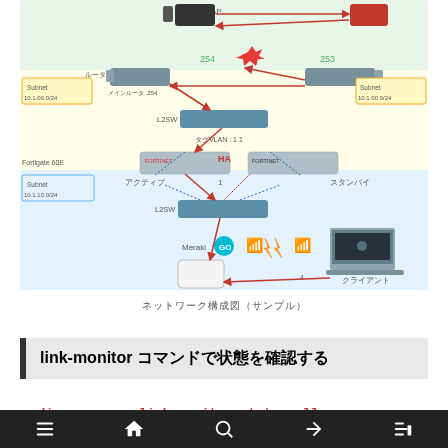[Figure (network-graph): Network topology diagram showing routers, L2 switches, Fortigate 60E HA pair (active/standby), Meraki GO wireless AP, subnets (10.1.00.0/24, 10.1.10.0/24), VLAN tagging, and client connections. Japanese labels for router, subnet, active, standby, client.]
ネットワーク構成図（サンプル）
link-monitor コマンドで状態を確認する
diagnose sys link-monitor status all